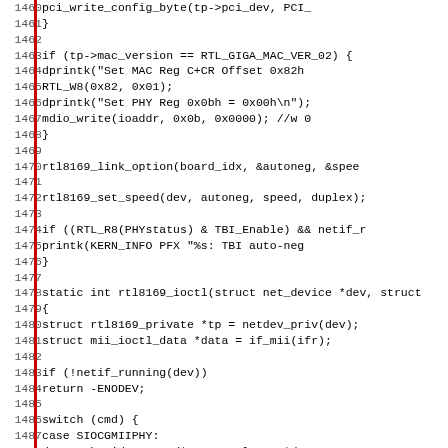[Figure (screenshot): Source code listing of C code for a Linux network driver (rtl8169), showing lines 1460-1491, with line numbers on the left separated by a red vertical bar, monospaced font on white background.]